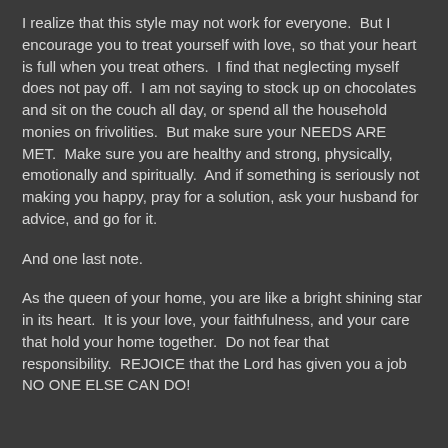I realize that this style may not work for everyone.  But I encourage you to treat yourself with love, so that your heart is full when you treat others.  I find that neglecting myself does not pay off.  I am not saying to stock up on chocolates and sit on the couch all day, or spend all the household monies on frivolities.  But make sure your NEEDS ARE MET.  Make sure you are healthy and strong, physically, emotionally and spiritually.  And if something is seriously not making you happy, pray for a solution, ask your husband for advice, and go for it.
And one last note.
As the queen of your home, you are like a bright shining star in its heart.  It is your love, your faithfulness, and your care that hold your home together.  Do not fear that responsibility.  REJOICE that the Lord has given you a job NO ONE ELSE CAN DO!